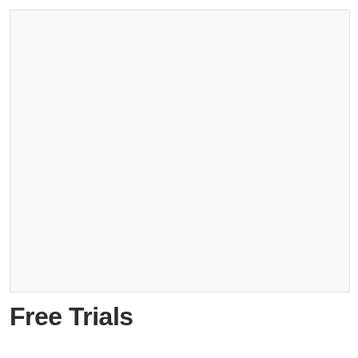[Figure (other): Large blank or near-blank white/off-white rectangular image area occupying most of the upper portion of the page.]
Free Trials